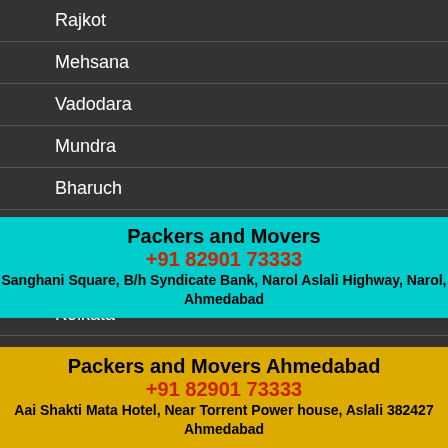Rajkot
Mehsana
Vadodara
Mundra
Bharuch
Nadiad
Patan
Kolkata
Naliya
Noida
Upleta
Packers and Movers +91 82901 73333 Sanghani Square, B/h Syndicate Bank, Narol Aslali Highway, Narol, Ahmedabad
Packers and Movers Ahmedabad +91 82901 73333 Aai Shakti Mata Hotel, Near Torrent Power house, Aslali 382427 Ahmedabad